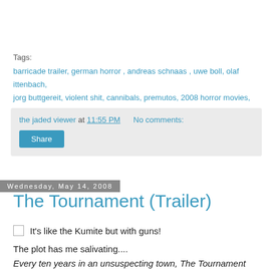Tags:
barricade trailer, german horror , andreas schnaas , uwe boll, olaf ittenbach, jorg buttgereit, violent shit, cannibals, premutos, 2008 horror movies,
the jaded viewer at 11:55 PM   No comments:
Share
Wednesday, May 14, 2008
The Tournament (Trailer)
It's like the Kumite but with guns!
The plot has me salivating....
Every ten years in an unsuspecting town, The Tournament takes place. A battle royale between 30 of the world's...